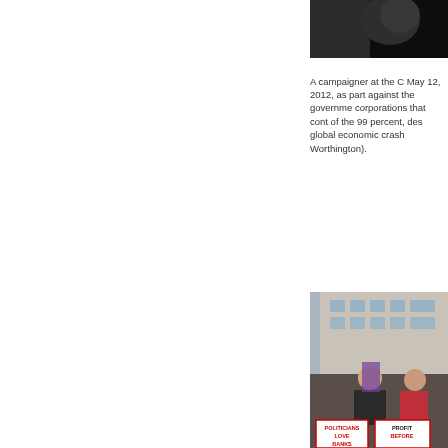[Figure (photo): Top portion of a photo, dark background, partially visible]
A campaigner at the C May 12, 2012, as part against the governme corporations that cont of the 99 percent, des global economic crash Worthington).
[Figure (photo): Protest photo showing demonstrators holding signs reading 'POLITICIANS LOVE BANKS' and 'PROFIT BEFORE' in front of a stone building]